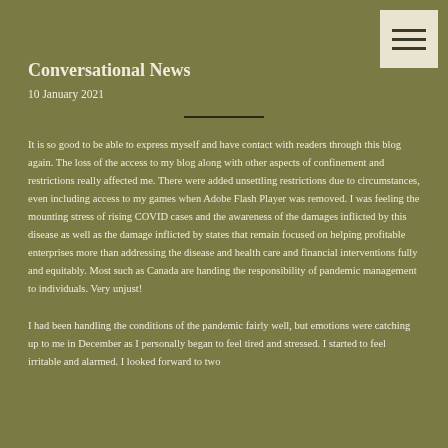Conversational News
10 January 2021
It is so good to be able to express myself and have contact with readers through this blog again. The loss of the access to my blog along with other aspects of confinement and restrictions really affected me. There were added unsettling restrictions due to circumstances, even including access to my games when Adobe Flash Player was removed. I was feeling the mounting stress of rising COVID cases and the awareness of the damages inflicted by this disease as well as the damage inflicted by states that remain focused on helping profitable enterprises more than addressing the disease and health care and financial interventions fully and equitably. Most such as Canada are handing the responsibility of pandemic management to individuals. Very unjust!
I had been handling the conditions of the pandemic fairly well, but emotions were catching up to me in December as I personally began to feel tired and stressed. I started to feel irritable and alarmed. I looked forward to two